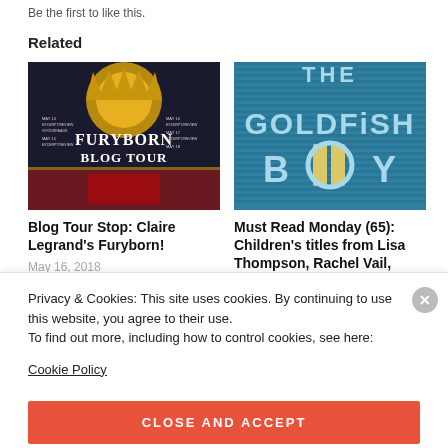Be the first to like this.
Related
[Figure (illustration): Furyborn Blog Tour book cover — dark background with golden crown and title text: FURYBORN BLOG TOUR]
Blog Tour Stop: Claire Legrand's Furyborn!
May 16, 2018
In "Reviews"
[Figure (illustration): The Goldfish Boy book cover — teal/blue background with large stylized title text THE GOLDFISH BOY]
Must Read Monday (65): Children's titles from Lisa Thompson, Rachel Vail, Mike Lawrence & more!
Privacy & Cookies: This site uses cookies. By continuing to use this website, you agree to their use.
To find out more, including how to control cookies, see here:
Cookie Policy
CLOSE AND ACCEPT